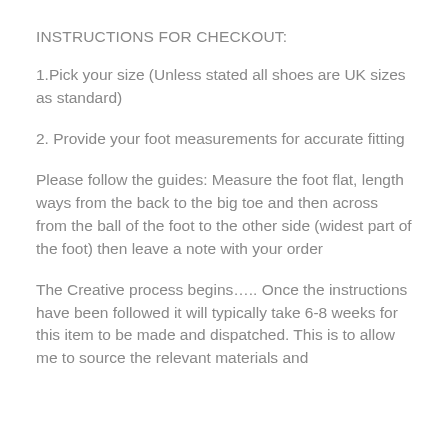INSTRUCTIONS FOR CHECKOUT:
1.Pick your size (Unless stated all shoes are UK sizes as standard)
2. Provide your foot measurements for accurate fitting
Please follow the guides: Measure the foot flat, length ways from the back to the big toe and then across from the ball of the foot to the other side (widest part of the foot) then leave a note with your order
The Creative process begins….. Once the instructions have been followed it will typically take 6-8 weeks for this item to be made and dispatched. This is to allow me to source the relevant materials and